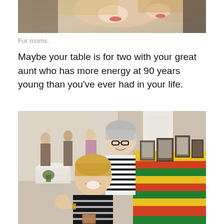[Figure (photo): Partial photo of two women laughing, cropped at bottom, shown at top of page]
Fur moms.
Maybe your table is for two with your great aunt who has more energy at 90 years young than you’ve ever had in your life.
[Figure (photo): Photo of two women hugging and smiling at what appears to be a party or event, with colorful tablecloths and framed photos in the background]